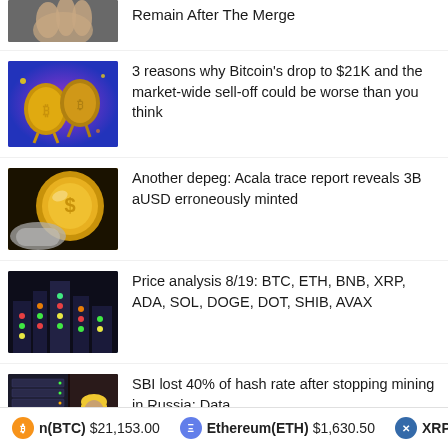Remain After The Merge
[Figure (photo): Partial thumbnail image at top, cropped]
3 reasons why Bitcoin's drop to $21K and the market-wide sell-off could be worse than you think
[Figure (illustration): Bitcoin coins illustration with colorful background]
Another depeg: Acala trace report reveals 3B aUSD erroneously minted
[Figure (illustration): Gold coin illustration]
Price analysis 8/19: BTC, ETH, BNB, XRP, ADA, SOL, DOGE, DOT, SHIB, AVAX
[Figure (illustration): Colorful market analysis illustration with lights]
SBI lost 40% of hash rate after stopping mining in Russia: Data
[Figure (illustration): Mining illustration with worker in helmet]
n(BTC) $21,153.00   Ethereum(ETH) $1,630.50   XRP(XRP) $